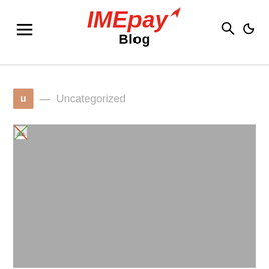IMEpay Blog
u — Uncategorized
[Figure (photo): Gray placeholder image representing a blog post thumbnail under the Uncategorized category]